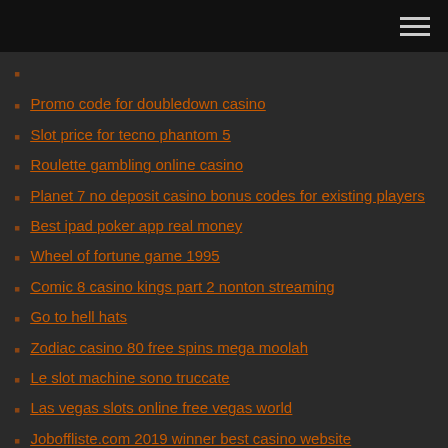Promo code for doubledown casino
Slot price for tecno phantom 5
Roulette gambling online casino
Planet 7 no deposit casino bonus codes for existing players
Best ipad poker app real money
Wheel of fortune game 1995
Comic 8 casino kings part 2 nonton streaming
Go to hell hats
Zodiac casino 80 free spins mega moolah
Le slot machine sono truccate
Las vegas slots online free vegas world
Joboffliste.com 2019 winner best casino website